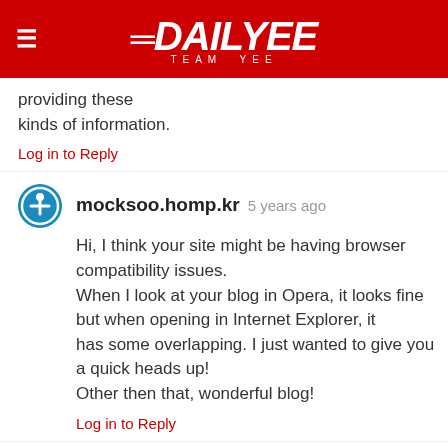DAILYEE TEAM YEE
providing these kinds of information.
Log in to Reply
mocksoo.homp.kr 5 years ago
Hi, I think your site might be having browser compatibility issues. When I look at your blog in Opera, it looks fine but when opening in Internet Explorer, it has some overlapping. I just wanted to give you a quick heads up! Other then that, wonderful blog!
Log in to Reply
loansstore down 5 years ago